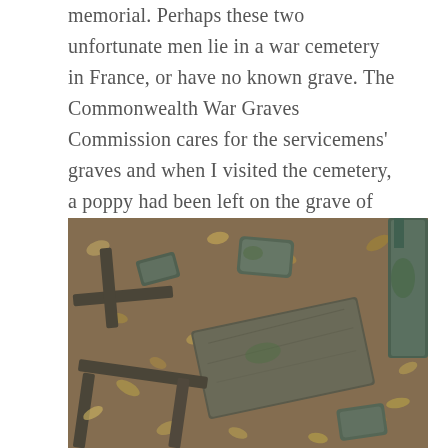memorial. Perhaps these two unfortunate men lie in a war cemetery in France, or have no known grave. The Commonwealth War Graves Commission cares for the servicemens' graves and when I visited the cemetery, a poppy had been left on the grave of Leonard Cable, a wireless operator for the RAF who died in 1943 aged just 20.
[Figure (photo): Photograph of an old cemetery showing fallen and mossy stone grave markers and cross-shaped grave borders lying on a ground covered with autumn leaves and soil. Several stone ledger slabs and small gravestone tops are visible, some upright, some fallen, with green moss on them.]